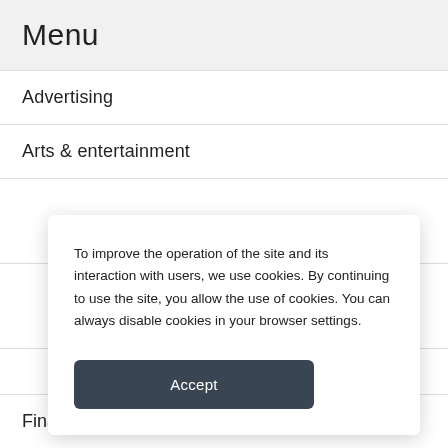Menu
Advertising
Arts & entertainment
To improve the operation of the site and its interaction with users, we use cookies. By continuing to use the site, you allow the use of cookies. You can always disable cookies in your browser settings.
Accept
Finance